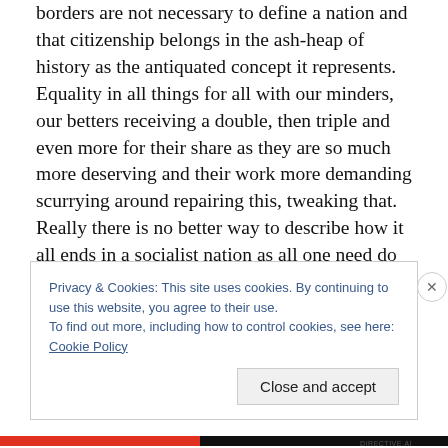borders are not necessary to define a nation and that citizenship belongs in the ash-heap of history as the antiquated concept it represents. Equality in all things for all with our minders, our betters receiving a double, then triple and even more for their share as they are so much more deserving and their work more demanding scurrying around repairing this, tweaking that. Really there is no better way to describe how it all ends in a socialist nation as all one need do is look around the world and see which nations are stagnant, which are thriving and which are basically defunct and failed. The United States will thrive
Privacy & Cookies: This site uses cookies. By continuing to use this website, you agree to their use. To find out more, including how to control cookies, see here: Cookie Policy